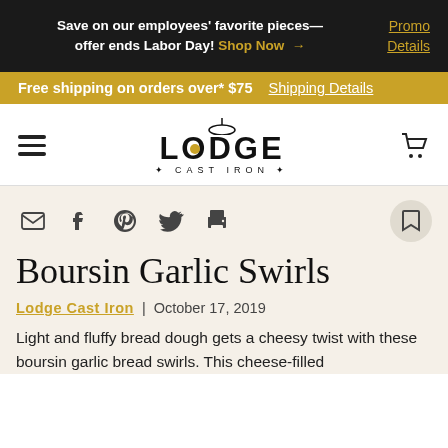Save on our employees' favorite pieces—offer ends Labor Day! Shop Now → Promo Details
Free shipping on orders over* $75 Shipping Details
[Figure (logo): Lodge Cast Iron logo with skillet icon and hamburger menu and cart icon]
[Figure (infographic): Social sharing icons: email, facebook, pinterest, twitter, print, bookmark]
Boursin Garlic Swirls
Lodge Cast Iron | October 17, 2019
Light and fluffy bread dough gets a cheesy twist with these boursin garlic bread swirls. This cheese-filled